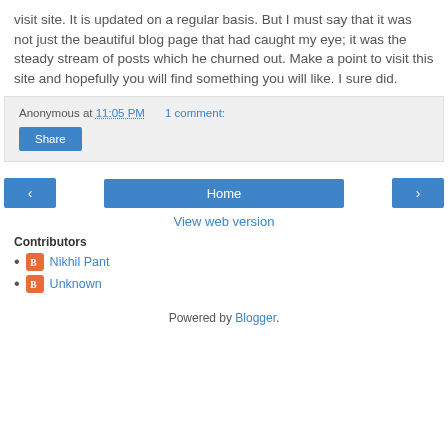visit site. It is updated on a regular basis. But I must say that it was not just the beautiful blog page that had caught my eye; it was the steady stream of posts which he churned out. Make a point to visit this site and hopefully you will find something you will like. I sure did.
Anonymous at 11:05 PM   1 comment:
Share
Home
View web version
Contributors
Nikhil Pant
Unknown
Powered by Blogger.